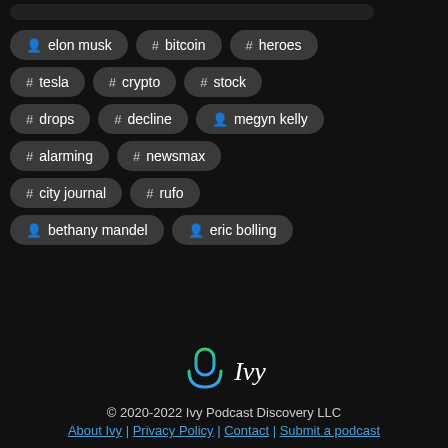elon musk
# bitcoin
# heroes
# tesla
# crypto
# stock
# drops
# decline
megyn kelly
# alarming
# newsmax
# city journal
# rufo
bethany mandel
eric bolling
[Figure (logo): Ivy podcast discovery logo — microphone icon with green/blue gradient, italic text 'Ivy']
© 2020-2022 Ivy Podcast Discovery LLC
About Ivy | Privacy Policy | Contact | Submit a podcast